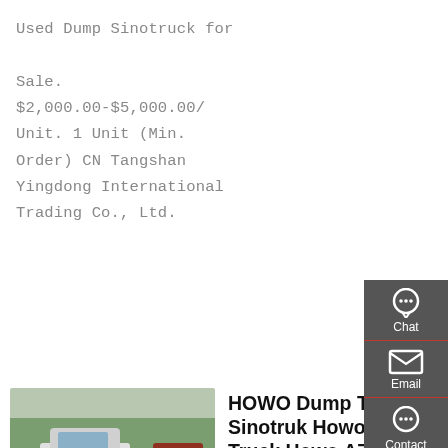Used Dump Sinotruck for Sale. $2,000.00-$5,000.00/Unit. 1 Unit (Min. Order) CN Tangshan Yingdong International Trading Co., Ltd.
Get a Quote
[Figure (photo): Multiple HOWO/Sinotruk dump trucks parked in a lot with trees in background]
HOWO Dump Truck - Sinotruk Howo Truck,Howo A7 Trucks
Liming · HOWO DUMP TRUCK